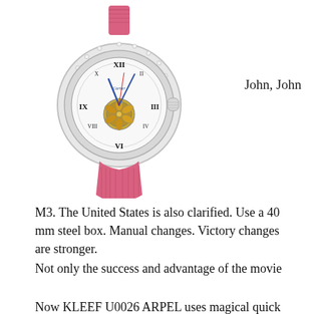[Figure (photo): A luxury Cartier Ballon Bleu watch with a silver diamond-encrusted bezel, open tourbillon movement visible on the dial, roman numeral markers, blue hands, and a pink crocodile leather strap.]
John, John
M3. The United States is also clarified. Use a 40 mm steel box. Manual changes. Victory changes are stronger.
Not only the success and advantage of the movie
Now KLEEF U0026 ARPEL uses magical quick